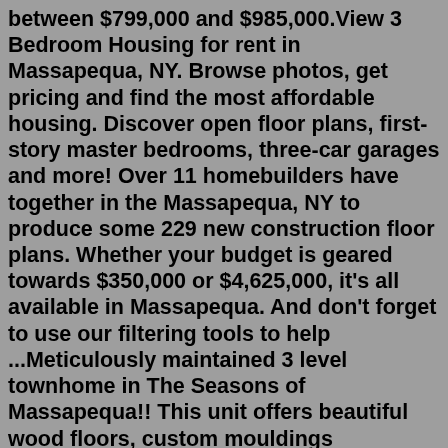between $799,000 and $985,000.View 3 Bedroom Housing for rent in Massapequa, NY. Browse photos, get pricing and find the most affordable housing. Discover open floor plans, first-story master bedrooms, three-car garages and more! Over 11 homebuilders have together in the Massapequa, NY to produce some 229 new construction floor plans. Whether your budget is geared towards $350,000 or $4,625,000, it's all available in Massapequa. And don't forget to use our filtering tools to help ...Meticulously maintained 3 level townhome in The Seasons of Massapequa!! This unit offers beautiful wood floors, custom mouldings throughout, high hats, updated stainless steel appliances, granite counter tops. 3 bedrooms and 2 and a half bathrooms with a FULL BASEMENT (3/4 finished). Interchangeable layout, ample closets and storage, garage ...The average rent in Pompano Beach , FL is at $1,990. There are 159 apartments for rent in Pompano Beach , FL to choose from, with prices between $776 and $49,000 per month. Here's, and beforeontinents for mouth...